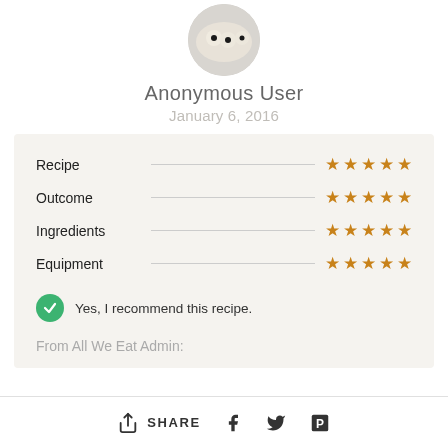[Figure (photo): Circular avatar photo of food (small pastries with dark toppings on a white plate), cropped to a circle]
Anonymous User
January 6, 2016
| Category | Rating |
| --- | --- |
| Recipe | ★★★★★ |
| Outcome | ★★★★★ |
| Ingredients | ★★★★★ |
| Equipment | ★★★★★ |
Yes, I recommend this recipe.
From All We Eat Admin:
SHARE